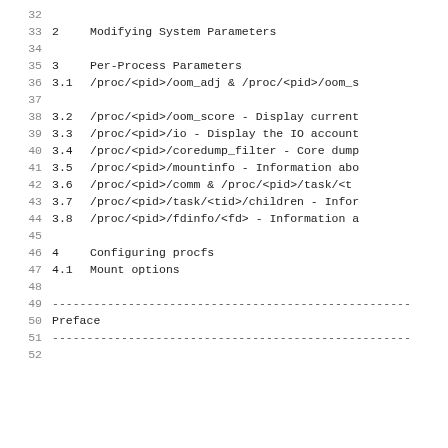32
33  2  Modifying System Parameters
34
35  3  Per-Process Parameters
36  3.1  /proc/<pid>/oom_adj & /proc/<pid>/oom_s
37
38  3.2  /proc/<pid>/oom_score - Display current
39  3.3  /proc/<pid>/io - Display the IO account
40  3.4  /proc/<pid>/coredump_filter - Core dump
41  3.5  /proc/<pid>/mountinfo - Information abo
42  3.6  /proc/<pid>/comm  & /proc/<pid>/task/<t
43  3.7  /proc/<pid>/task/<tid>/children - Infor
44  3.8  /proc/<pid>/fdinfo/<fd> - Information a
45
46  4  Configuring procfs
47  4.1  Mount options
48
49  ---------------------------------------------------
50  Preface
51  ---------------------------------------------------
52